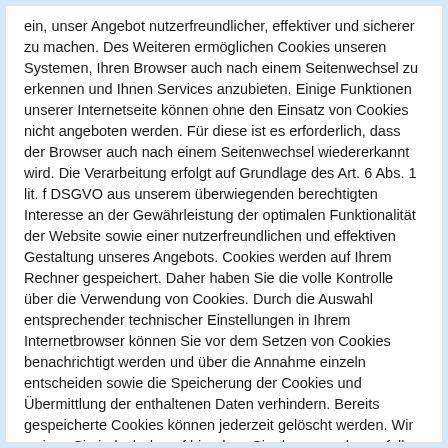ein, unser Angebot nutzerfreundlicher, effektiver und sicherer zu machen. Des Weiteren ermöglichen Cookies unseren Systemen, Ihren Browser auch nach einem Seitenwechsel zu erkennen und Ihnen Services anzubieten. Einige Funktionen unserer Internetseite können ohne den Einsatz von Cookies nicht angeboten werden. Für diese ist es erforderlich, dass der Browser auch nach einem Seitenwechsel wiedererkannt wird. Die Verarbeitung erfolgt auf Grundlage des Art. 6 Abs. 1 lit. f DSGVO aus unserem überwiegenden berechtigten Interesse an der Gewährleistung der optimalen Funktionalität der Website sowie einer nutzerfreundlichen und effektiven Gestaltung unseres Angebots. Cookies werden auf Ihrem Rechner gespeichert. Daher haben Sie die volle Kontrolle über die Verwendung von Cookies. Durch die Auswahl entsprechender technischer Einstellungen in Ihrem Internetbrowser können Sie vor dem Setzen von Cookies benachrichtigt werden und über die Annahme einzeln entscheiden sowie die Speicherung der Cookies und Übermittlung der enthaltenen Daten verhindern. Bereits gespeicherte Cookies können jederzeit gelöscht werden. Wir weisen Sie jedoch darauf hin, dass Sie dann gegebenenfalls nicht sämtliche Funktionen dieser Website vollumfänglich werden nutzen können.